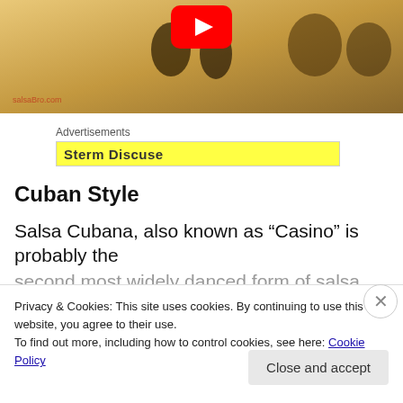[Figure (screenshot): YouTube video thumbnail showing dancers in a warm golden-toned scene with a red YouTube play button icon at the top and a watermark at the bottom left]
Advertisements
Chen Discuce
Cuban Style
Salsa Cubana, also known as “Casino” is probably the
second most widely danced form of salsa internationally. It
Privacy & Cookies: This site uses cookies. By continuing to use this website, you agree to their use.
To find out more, including how to control cookies, see here: Cookie Policy
Close and accept